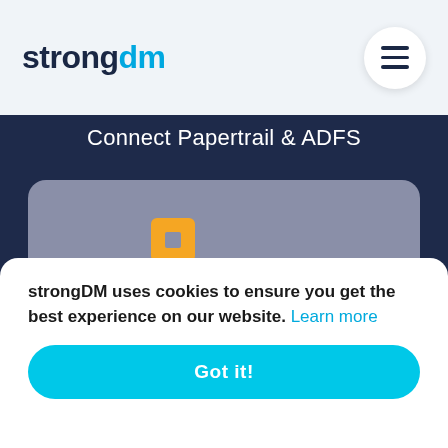[Figure (logo): strongDM logo in header: 'strong' in dark navy bold, 'dm' in cyan bold]
[Figure (other): Hamburger menu button (three horizontal lines) in white circle]
Connect Papertrail & ADFS
[Figure (logo): Papertrail logo: orange workflow/split node icon on left, lowercase bold 'p' on right, on grey card background]
strongDM uses cookies to ensure you get the best experience on our website. Learn more
Got it!